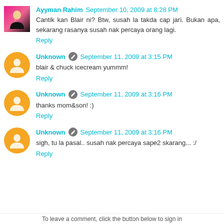Ayyman Rahim  September 10, 2009 at 8:28 PM
Cantik kan Blair ni? Btw, susah la takda cap jari. Bukan apa, sekarang rasanya susah nak percaya orang lagi.
Reply
Unknown  September 11, 2009 at 3:15 PM
blair & chuck icecream yummm!
Reply
Unknown  September 11, 2009 at 3:16 PM
thanks mom&son! :)
Reply
Unknown  September 11, 2009 at 3:16 PM
sigh, tu la pasal.. susah nak percaya sape2 skarang... :/
Reply
To leave a comment, click the button below to sign in